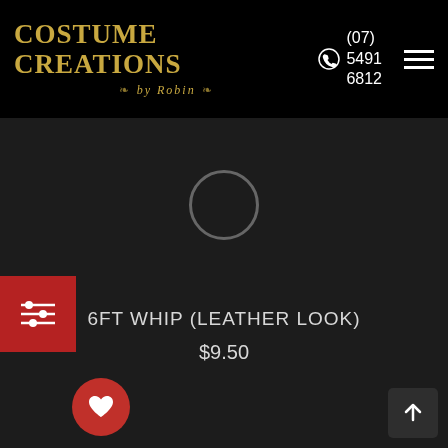COSTUME CREATIONS by Robin | (07) 5491 6812
[Figure (screenshot): Dark product page screenshot showing loading spinner circle, filter button (red, left edge), wishlist heart button (red circle), product title '6FT WHIP (LEATHER LOOK)' and price '$9.50', with back-to-top arrow button at bottom right.]
6FT WHIP (LEATHER LOOK)
$9.50